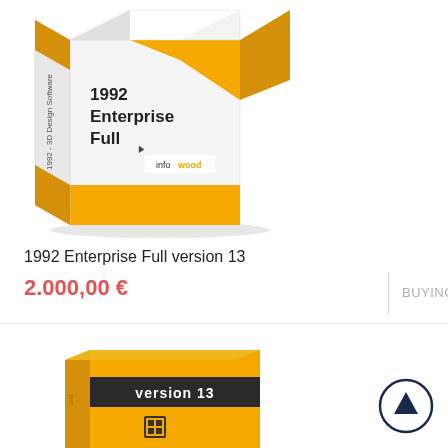[Figure (illustration): 3D product box for 1992 Enterprise Full software, white box with yellow accents, top has diagonal yellow stripe, side reads '1992 - 3D Design Software', front face shows '1992 Enterprise Full' in bold and 'infowood' logo]
1992 Enterprise Full version 13
2.000,00 €
BUYING
[Figure (illustration): 3D product box for version 13 software, all yellow box with dark banner reading 'version 13' and a grid/barcode icon on the front face]